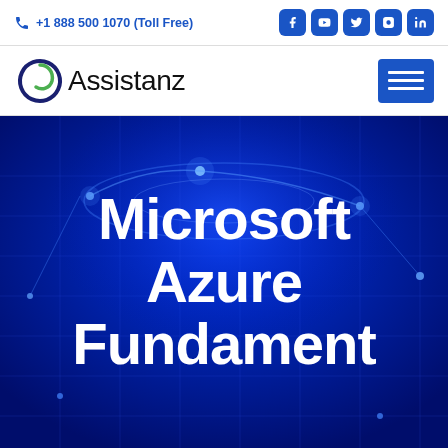+1 888 500 1070 (Toll Free)
[Figure (logo): Assistanz logo with stylized letter O in blue and green, followed by text 'Assistanz']
Microsoft Azure Fundament